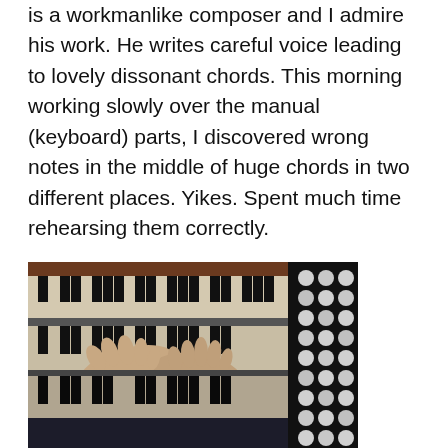is a workmanlike composer and I admire his work. He writes careful voice leading to lovely dissonant chords. This morning working slowly over the manual (keyboard) parts, I discovered wrong notes in the middle of huge chords in two different places. Yikes. Spent much time rehearsing them correctly.
[Figure (photo): A person's hands playing a large pipe organ console with multiple manual keyboards and stops visible on the right side. The image is dark with high contrast.]
Our friend, Barb, is visiting. I will sneak off later and practice. Also, I have asked Eileen to practice